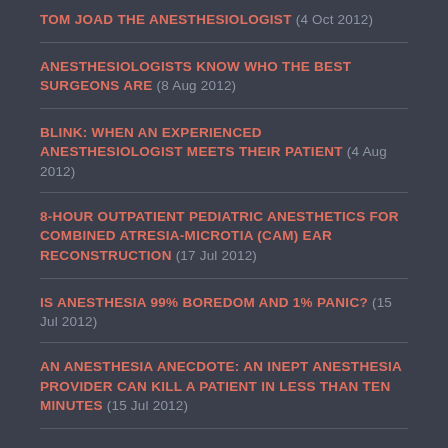TOM JOAD THE ANESTHESIOLOGIST  (4 Oct 2012)
ANESTHESIOLOGISTS KNOW WHO THE BEST SURGEONS ARE  (8 Aug 2012)
BLINK: WHEN AN EXPERIENCED ANESTHESIOLOGIST MEETS THEIR PATIENT  (4 Aug 2012)
8-HOUR OUTPATIENT PEDIATRIC ANESTHETICS FOR COMBINED ATRESIA-MICROTIA (CAM) EAR RECONSTRUCTION  (17 Jul 2012)
IS ANESTHESIA 99% BOREDOM AND 1% PANIC?  (15 Jul 2012)
AN ANESTHESIA ANECDOTE: AN INEPT ANESTHESIA PROVIDER CAN KILL A PATIENT IN LESS THAN TEN MINUTES  (15 Jul 2012)
HOW TO START AN I.V. CATHETER ON A PATIENT WITH DIFFICULT VEINS  (23 Jun 2012)